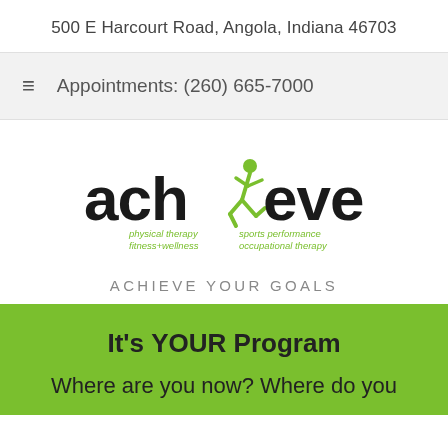500 E Harcourt Road, Angola, Indiana 46703
Appointments: (260) 665-7000
[Figure (logo): Achieve physical therapy fitness+wellness sports performance occupational therapy logo with a running figure silhouette in green]
ACHIEVE YOUR GOALS
It's YOUR Program
Where are you now? Where do you